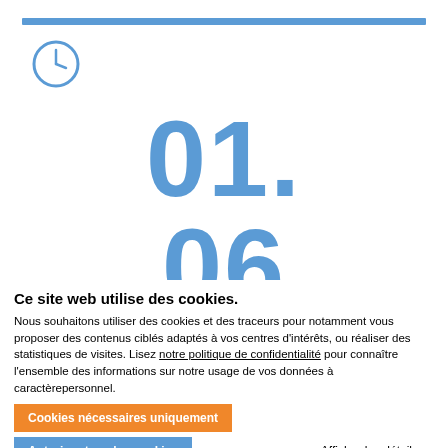[Figure (illustration): Blue horizontal bar at top of page, clock icon below it, large blue numbers '01.' and '06' displayed prominently]
Ce site web utilise des cookies.
Nous souhaitons utiliser des cookies et des traceurs pour notamment vous proposer des contenus ciblés adaptés à vos centres d'intérêts, ou réaliser des statistiques de visites. Lisez notre politique de confidentialité pour connaître l'ensemble des informations sur notre usage de vos données à caractèrepersonnel.
Cookies nécessaires uniquement
Autoriser tous les cookies
Afficher les détails